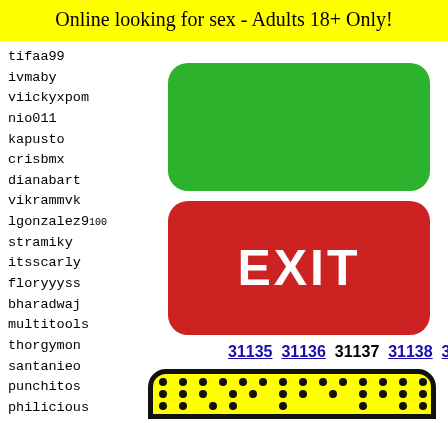Online looking for sex - Adults 18+ Only!
tifaa99
ivmaby
viickyxpom
nio011
kapusto
crisbmx
dianabart
vikrammvk
lgonzalez9100
stramiky
itsscarly
floryyyss
bharadwaj
multitools
thorgymon
santanieo
punchitos
philicious
scnc40
neakcS^
Lovely
-mrfir
radcoo
gretaf
jimbro
Kittyo
[Figure (other): Green rounded button]
[Figure (other): Red EXIT button]
31135 31136 31137 31138 31139
[Figure (illustration): Yellow padel/paddle with dots and cartoon frog face at bottom]